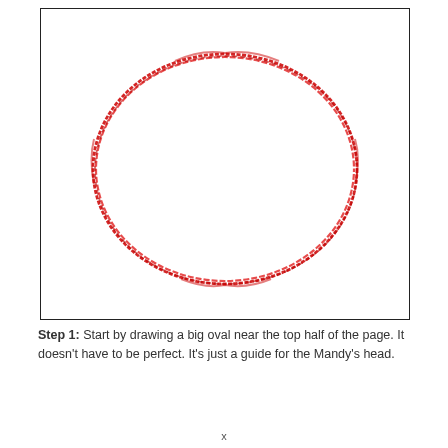[Figure (illustration): A hand-drawn style red oval/ellipse centered in the upper half of a bordered white rectangle, representing a guide for drawing a character's head.]
Step 1: Start by drawing a big oval near the top half of the page. It doesn't have to be perfect. It's just a guide for the Mandy's head.
x